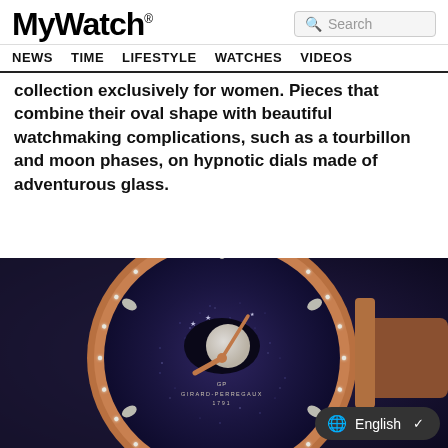MyWatch® | NEWS  TIME  LIFESTYLE  WATCHES  VIDEOS
collection exclusively for women. Pieces that combine their oval shape with beautiful watchmaking complications, such as a tourbillon and moon phases, on hypnotic dials made of adventurous glass.
[Figure (photo): Close-up photograph of a Girard-Perregaux 1791 luxury watch with a deep blue/purple aventurine dial set with diamond hour markers, moon phase complication showing mother-of-pearl moon, rose gold case and hands, diamond-set bezel, on a dark leather strap.]